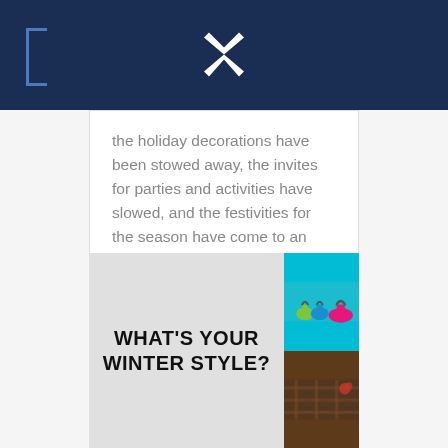the holiday decorations have been stowed away, the invites for parties and activities have slowed, and the festivities for the season have come to an end. However, there is just one issue; that little one of yours did NOT get [...]
Read More
WHAT'S YOUR WINTER STYLE?
[Figure (photo): Colorful kettlebells (green, blue, pink) on a teal background]
[Figure (photo): Dark, warm-toned lifestyle image with plaid fabric and decorative elements]